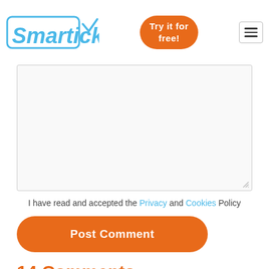Smartick - Try it for free!
[Figure (screenshot): Empty textarea input box with resize handle]
I have read and accepted the Privacy and Cookies Policy
Post Comment
14 Comments
Cookies allow us to offer our services. If you continue browsing you are agreeing to our use of cookies. More information in Cookies Policy
I accept